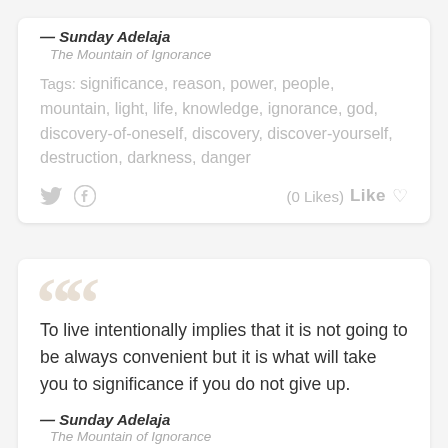— Sunday Adelaja
The Mountain of Ignorance
Tags: significance, reason, power, people, mountain, light, life, knowledge, ignorance, god, discovery-of-oneself, discovery, discover-yourself, destruction, darkness, danger
(0 Likes)  Like
To live intentionally implies that it is not going to be always convenient but it is what will take you to significance if you do not give up.
— Sunday Adelaja
The Mountain of Ignorance